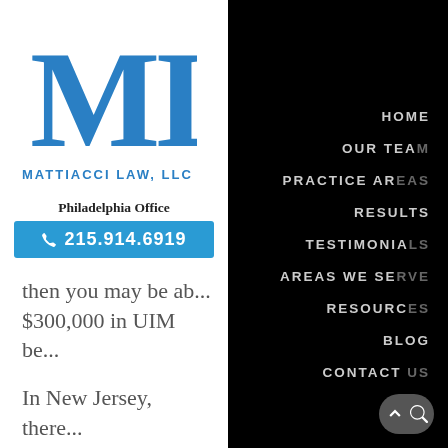[Figure (logo): ML logo in blue serif letters for Mattiacci Law, LLC]
MATTIACCI LAW, LLC
Philadelphia Office
215.914.6919
then you may be able to collect $300,000 in UIM be...
In New Jersey, there... Also, a NJ's driver's ... amount of money a... defendant's policy. P... defendant driver hu... has $50,000 in liabil... have $100,000 in UI...
HOME
OUR TEA...
PRACTICE AR...
RESULTS
TESTIMONIA...
AREAS WE SE...
RESOURC...
BLOG
CONTACT ...